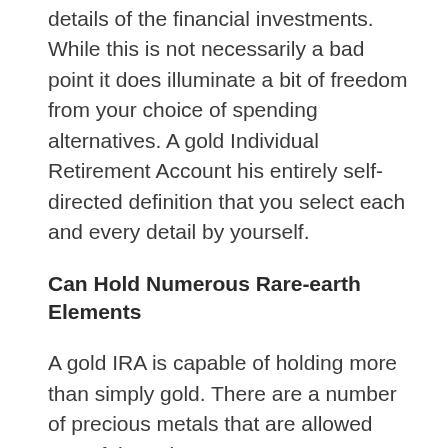details of the financial investments. While this is not necessarily a bad point it does illuminate a bit of freedom from your choice of spending alternatives. A gold Individual Retirement Account his entirely self-directed definition that you select each and every detail by yourself.
Can Hold Numerous Rare-earth Elements
A gold IRA is capable of holding more than simply gold. There are a number of precious metals that are allowed one of these investment accounts. Along with gold, you can hold various sorts of silver, platinum, and palladium. This is great as it allows also more diversity of your